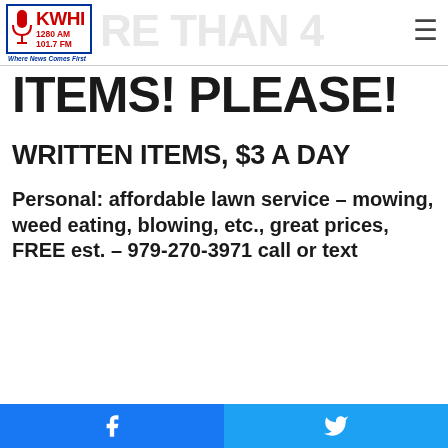KWHI 1280 AM 101.7 FM — Where News Comes First
ITEMS! PLEASE!
WRITTEN ITEMS, $3 A DAY
Personal: affordable lawn service – mowing, weed eating, blowing, etc., great prices, FREE est. – 979-270-3971 call or text
Facebook | Twitter share buttons